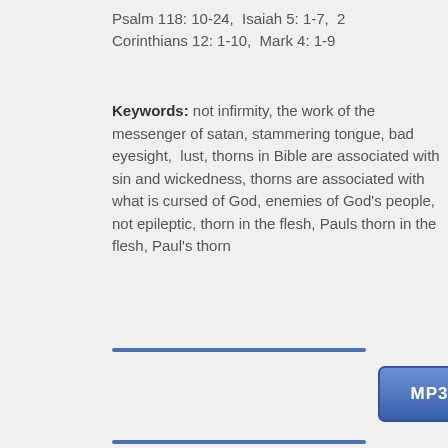Psalm 118: 10-24,  Isaiah 5: 1-7,  2 Corinthians 12: 1-10,  Mark 4: 1-9
Keywords: not infirmity, the work of the messenger of satan, stammering tongue, bad eyesight,  lust, thorns in Bible are associated with sin and wickedness, thorns are associated with what is cursed of God, enemies of God's people, not epileptic, thorn in the flesh, Pauls thorn in the flesh, Paul's thorn
[Figure (other): Blue horizontal divider bar]
[Figure (other): MP3 play button (blue rounded rectangle with MP3 text and play icon)]
[Figure (other): Dark rounded square upload/share button with upward arrow icon]
[Figure (other): Blue horizontal divider bar at bottom]